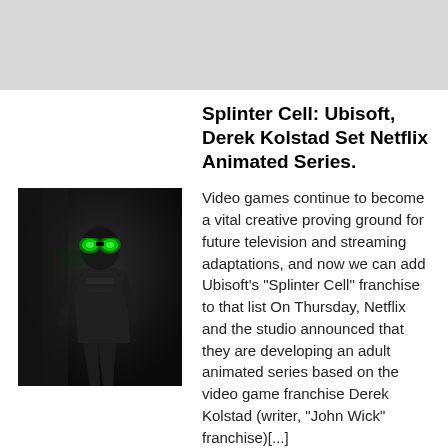[Figure (photo): Gray banner/advertisement area at the top of the page]
Splinter Cell: Ubisoft, Derek Kolstad Set Netflix Animated Series.
[Figure (photo): Dark image of a Splinter Cell character in tactical gear with glowing green goggles, standing in a dark environment]
Video games continue to become a vital creative proving ground for future television and streaming adaptations, and now we can add Ubisoft's "Splinter Cell" franchise to that list On Thursday, Netflix and the studio announced that they are developing an adult animated series based on the video game franchise Derek Kolstad (writer, "John Wick" franchise)[...]